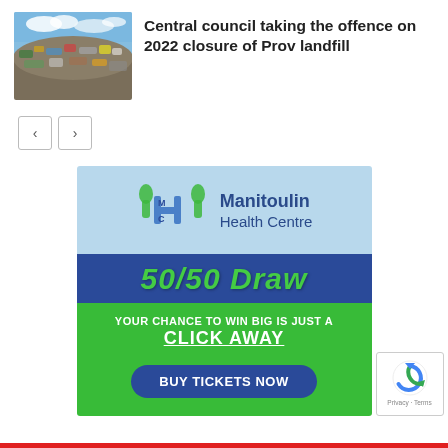[Figure (photo): Photo of a large garbage/landfill pile with blue sky background]
Central council taking the offence on 2022 closure of Prov landfill
[Figure (infographic): Navigation prev/next arrow buttons]
[Figure (infographic): Manitoulin Health Centre 50/50 Draw advertisement banner. Text reads: Manitoulin Health Centre, 50/50 Draw, YOUR CHANCE TO WIN BIG IS JUST A CLICK AWAY, BUY TICKETS NOW]
[Figure (logo): reCAPTCHA badge with privacy and terms text]